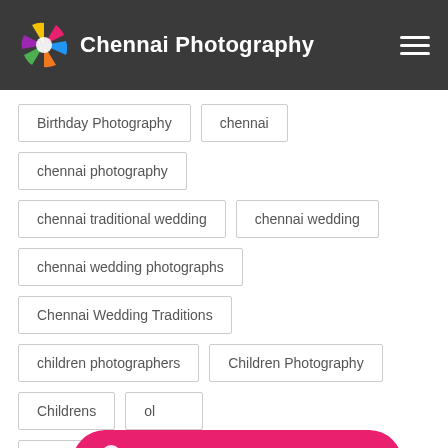Chennai Photography
Birthday Photography
chennai
chennai photography
chennai traditional wedding
chennai wedding
chennai wedding photographs
Chennai Wedding Traditions
children photographers
Children Photography
Childrens
Photography
May I help you ?